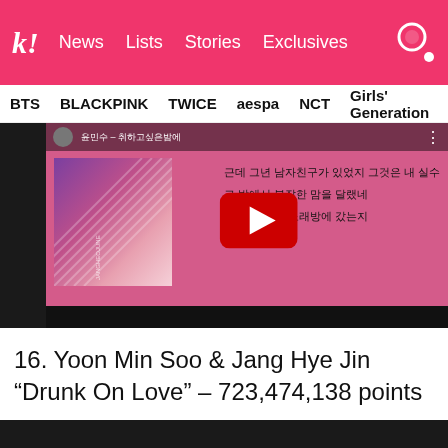k! News  Lists  Stories  Exclusives
BTS  BLACKPINK  TWICE  aespa  NCT  Girls' Generation
[Figure (screenshot): YouTube video thumbnail showing a music video for 'Drunk On Love' by Yoon Min Soo and Jang Hye Jin. Pink background with album art on the left showing diagonal stripe pattern, Korean lyrics on the right, and a YouTube play button in the center.]
16. Yoon Min Soo & Jang Hye Jin "Drunk On Love" – 723,474,138 points